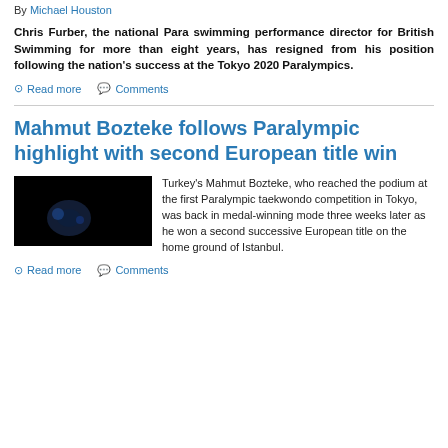By Michael Houston
Chris Furber, the national Para swimming performance director for British Swimming for more than eight years, has resigned from his position following the nation's success at the Tokyo 2020 Paralympics.
Read more   Comments
Mahmut Bozteke follows Paralympic highlight with second European title win
[Figure (photo): Dark image related to Mahmut Bozteke Paralympic taekwondo article]
Turkey's Mahmut Bozteke, who reached the podium at the first Paralympic taekwondo competition in Tokyo, was back in medal-winning mode three weeks later as he won a second successive European title on the home ground of Istanbul.
Read more   Comments